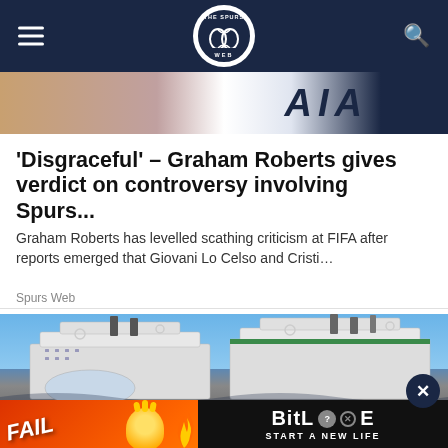Spurs Web
[Figure (photo): Top portion of a football player wearing a white AIA jersey (Tottenham Hotspur kit)]
'Disgraceful' – Graham Roberts gives verdict on controversy involving Spurs...
Graham Roberts has levelled scathing criticism at FIFA after reports emerged that Giovani Lo Celso and Cristi…
Spurs Web
[Figure (photo): Large cruise ships photographed from below against a blue sky background]
[Figure (other): BitLife advertisement banner showing FAIL text and 'START A NEW LIFE' tagline]